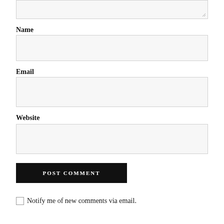[Figure (screenshot): Partial textarea at top of page with resize handle]
Name
[Figure (screenshot): Name input field box]
Email
[Figure (screenshot): Email input field box]
Website
[Figure (screenshot): Website input field box]
[Figure (screenshot): POST COMMENT submit button]
Notify me of new comments via email.